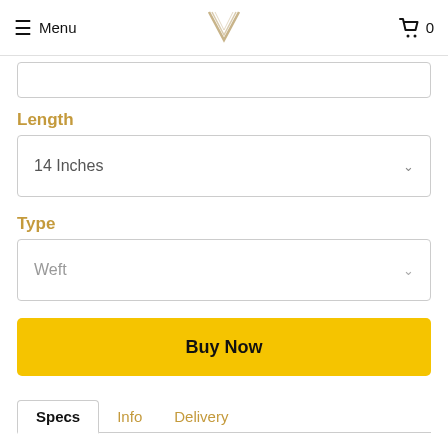Menu  [V logo]  0
Length
14 Inches
Type
Weft
Buy Now
Specs  Info  Delivery
Transform your hair in an instant! With our Balayage hair extensions, you can apply it easily to get fuller and thicker hair that gives you that WOW factor. Once blended nicely, it gives you a natural look that will make you